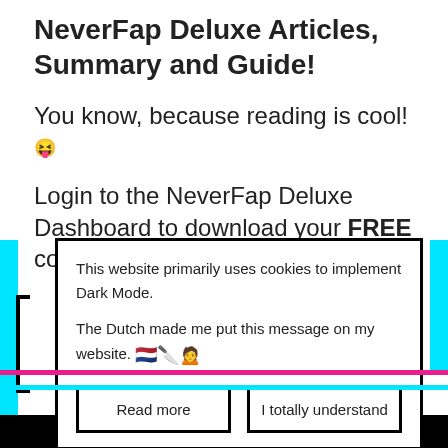NeverFap Deluxe Articles, Summary and Guide!
You know, because reading is cool! 😝
Login to the NeverFap Deluxe Dashboard to download your FREE copy!
This website primarily uses cookies to implement Dark Mode.

The Dutch made me put this message on my website. 🇳🇱🔪🙍
Read more
I totally understand